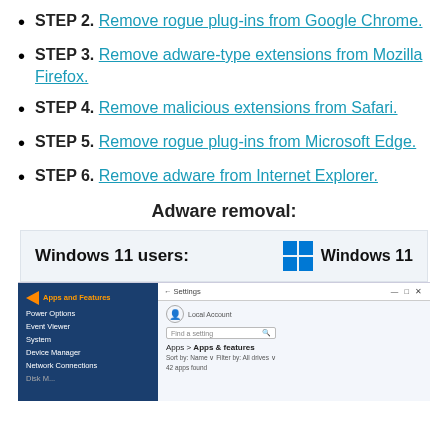STEP 2. Remove rogue plug-ins from Google Chrome.
STEP 3. Remove adware-type extensions from Mozilla Firefox.
STEP 4. Remove malicious extensions from Safari.
STEP 5. Remove rogue plug-ins from Microsoft Edge.
STEP 6. Remove adware from Internet Explorer.
Adware removal:
[Figure (screenshot): Windows 11 users banner with Windows 11 logo]
[Figure (screenshot): Windows Settings screenshot showing Apps and Features highlighted with orange arrow in context menu, and Settings window open to Apps > Apps & features with 42 apps found]